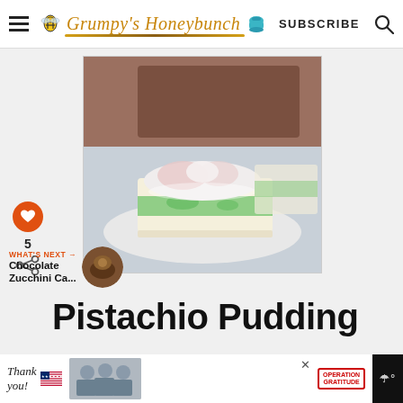Grumpy's Honeybunch — SUBSCRIBE
[Figure (photo): A slice of pistachio pudding poke cake on a white plate, showing layers of white cake, green pistachio pudding, and pink/white whipped topping, with more cake in the background]
[Figure (infographic): Sidebar with orange heart button showing 5 likes and a share icon]
WHAT'S NEXT → Chocolate Zucchini Ca...
Pistachio Pudding
[Figure (photo): Operation Gratitude Thank You advertisement banner showing people in masks holding boxes]